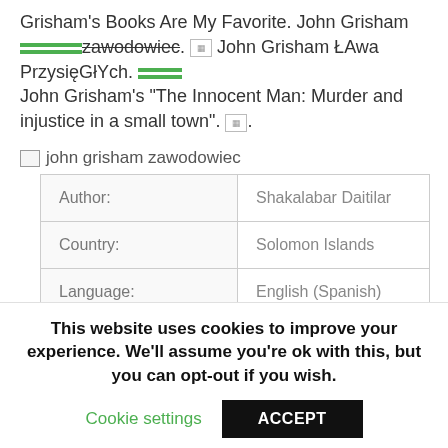Grisham's Books Are My Favorite. John Grisham zawodowiec. [img] John Grisham ŁAwa PrzysięGłYch. [img] John Grisham's "The Innocent Man: Murder and injustice in a small town". [img].
[Figure (other): Broken image placeholder with alt text 'john grisham zawodowiec']
| Author: | Shakalabar Daitilar |
| Country: | Solomon Islands |
| Language: | English (Spanish) |
| Genre: | Finance |
This website uses cookies to improve your experience. We'll assume you're ok with this, but you can opt-out if you wish.
Cookie settings    ACCEPT